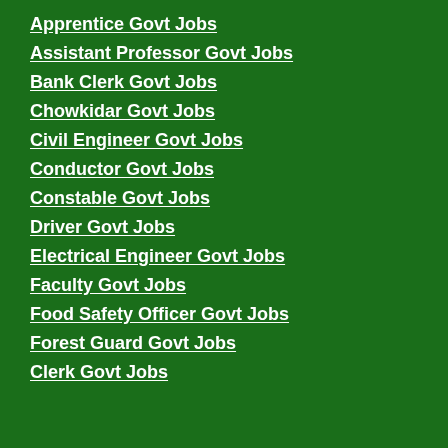Apprentice Govt Jobs
Assistant Professor Govt Jobs
Bank Clerk Govt Jobs
Chowkidar Govt Jobs
Civil Engineer Govt Jobs
Conductor Govt Jobs
Constable Govt Jobs
Driver Govt Jobs
Electrical Engineer Govt Jobs
Faculty Govt Jobs
Food Safety Officer Govt Jobs
Forest Guard Govt Jobs
Clerk Govt Jobs